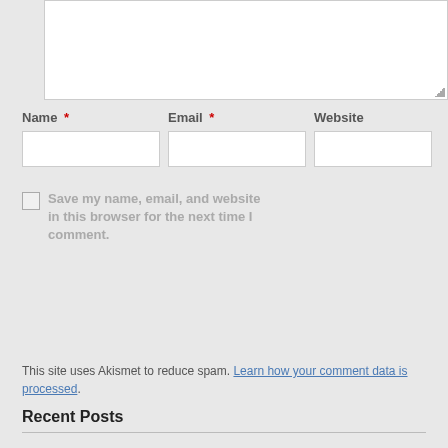[Figure (screenshot): A white textarea input box (comment field) with a resize handle in the bottom-right corner, on a light grey background.]
Name * Email * Website
[Figure (screenshot): Three text input fields side by side: Name (required), Email (required), Website.]
Save my name, email, and website in this browser for the next time I comment.
[Figure (screenshot): A dark button labeled 'Post Comment']
This site uses Akismet to reduce spam. Learn how your comment data is processed.
Recent Posts